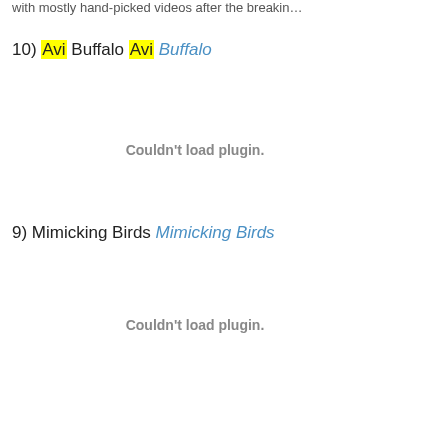with mostly hand-picked videos after the breakin…
10) Avi Buffalo Avi Buffalo
[Figure (other): Couldn't load plugin.]
9) Mimicking Birds Mimicking Birds
[Figure (other): Couldn't load plugin.]